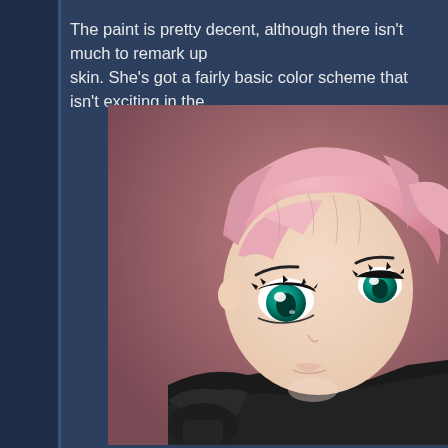The paint is pretty decent, although there isn't much to remark up... skin. She's got a fairly basic color scheme that isn't exciting in the...
[Figure (photo): Close-up photo of an anime-style figure/figurine with pink hair, teal eyes with black eyelashes, pale skin, and a dark outfit. The figure has a slightly downward gaze and the face is detailed with anime-style proportions. Background is a muted pink-red gradient.]